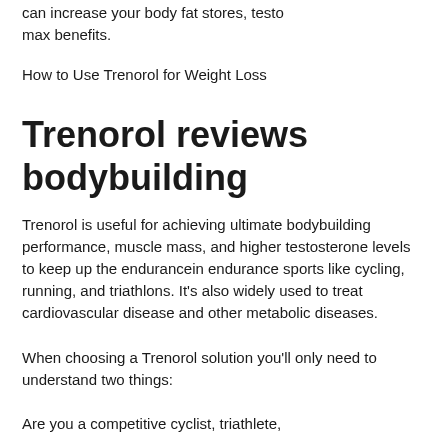can increase your body fat stores, testo max benefits.
How to Use Trenorol for Weight Loss
Trenorol reviews bodybuilding
Trenorol is useful for achieving ultimate bodybuilding performance, muscle mass, and higher testosterone levels to keep up the endurancein endurance sports like cycling, running, and triathlons. It's also widely used to treat cardiovascular disease and other metabolic diseases.
When choosing a Trenorol solution you'll only need to understand two things:
Are you a competitive cyclist, triathlete,